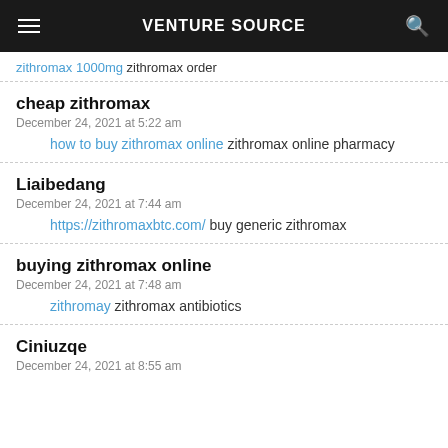VENTURE SOURCE
zithromax 1000mg zithromax order
cheap zithromax
December 24, 2021 at 5:22 am
how to buy zithromax online zithromax online pharmacy
Liaibedang
December 24, 2021 at 7:44 am
https://zithromaxbtc.com/ buy generic zithromax
buying zithromax online
December 24, 2021 at 7:48 am
zithromay zithromax antibiotics
Ciniuzqe
December 24, 2021 at 8:55 am